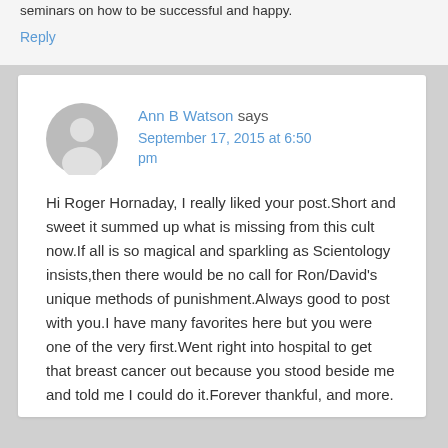seminars on how to be successful and happy.
Reply
[Figure (illustration): Gray circular avatar/profile placeholder icon]
Ann B Watson says September 17, 2015 at 6:50 pm
Hi Roger Hornaday, I really liked your post.Short and sweet it summed up what is missing from this cult now.If all is so magical and sparkling as Scientology insists,then there would be no call for Ron/David's unique methods of punishment.Always good to post with you.I have many favorites here but you were one of the very first.Went right into hospital to get that breast cancer out because you stood beside me and told me I could do it.Forever thankful,and more.